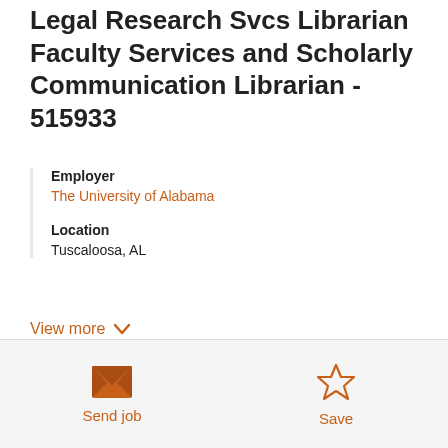Legal Research Svcs Librarian Faculty Services and Scholarly Communication Librarian - 515933
Employer
The University of Alabama
Location
Tuscaloosa, AL
View more
[Figure (logo): The University of Alabama logo with script A and text]
Send job
Save